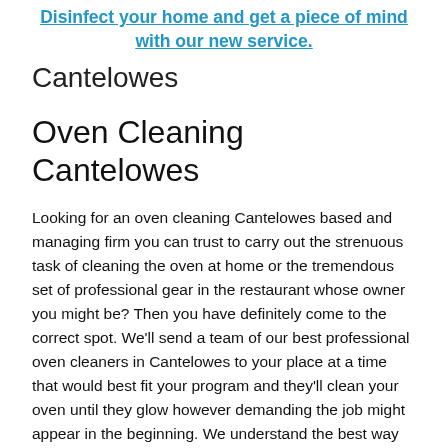Disinfect your home and get a piece of mind with our new service.
Cantelowes
Oven Cleaning Cantelowes
Looking for an oven cleaning Cantelowes based and managing firm you can trust to carry out the strenuous task of cleaning the oven at home or the tremendous set of professional gear in the restaurant whose owner you might be? Then you have definitely come to the correct spot. We'll send a team of our best professional oven cleaners in Cantelowes to your place at a time that would best fit your program and they'll clean your oven until they glow however demanding the job might appear in the beginning. We understand the best way to do that because we have really been in the company long enough to know every little trick of the commerce. In addition to that all our workers are all very well trained and expert pros using techniques that have proven to offer the greatest results as fast as you can. They function with the newest equipment accessible on the market and all environment friendly professional cleaning products they use are really strong. No grease, food spot and another grime stand on opportunity against our expertise in the field of oven